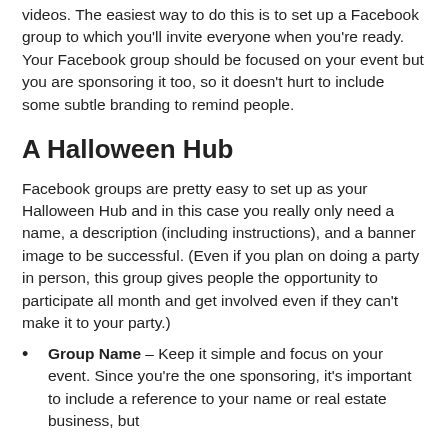videos. The easiest way to do this is to set up a Facebook group to which you'll invite everyone when you're ready. Your Facebook group should be focused on your event but you are sponsoring it too, so it doesn't hurt to include some subtle branding to remind people.
A Halloween Hub
Facebook groups are pretty easy to set up as your Halloween Hub and in this case you really only need a name, a description (including instructions), and a banner image to be successful. (Even if you plan on doing a party in person, this group gives people the opportunity to participate all month and get involved even if they can't make it to your party.)
Group Name – Keep it simple and focus on your event. Since you're the one sponsoring, it's important to include a reference to your name or real estate business, but